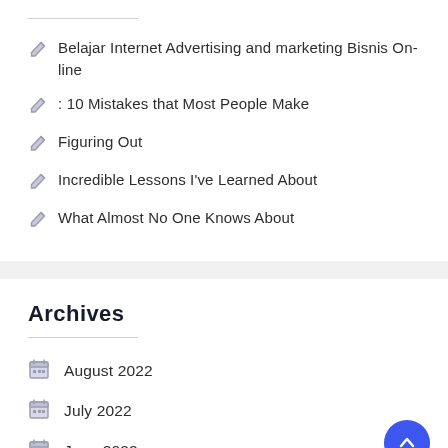Belajar Internet Advertising and marketing Bisnis On-line
: 10 Mistakes that Most People Make
Figuring Out
Incredible Lessons I've Learned About
What Almost No One Knows About
Archives
August 2022
July 2022
June 2022